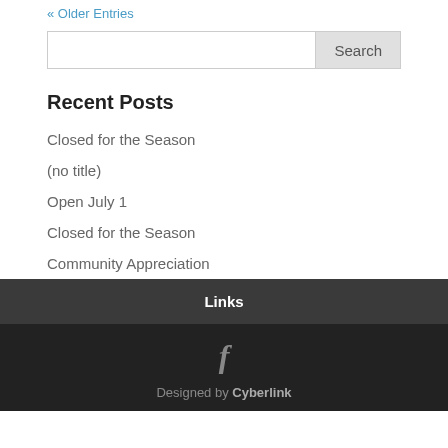« Older Entries
Search
Recent Posts
Closed for the Season
(no title)
Open July 1
Closed for the Season
Community Appreciation
Links
f
Designed by Cyberlink